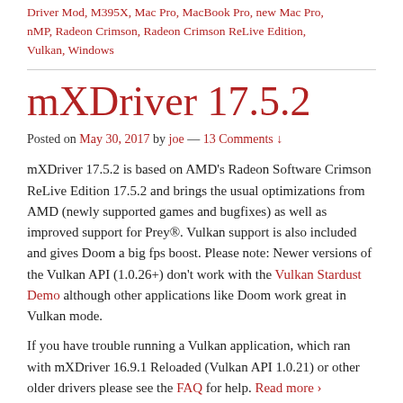Driver Mod, M395X, Mac Pro, MacBook Pro, new Mac Pro, nMP, Radeon Crimson, Radeon Crimson ReLive Edition, Vulkan, Windows
mXDriver 17.5.2
Posted on May 30, 2017 by joe — 13 Comments ↓
mXDriver 17.5.2 is based on AMD's Radeon Software Crimson ReLive Edition 17.5.2 and brings the usual optimizations from AMD (newly supported games and bugfixes) as well as improved support for Prey®. Vulkan support is also included and gives Doom a big fps boost. Please note: Newer versions of the Vulkan API (1.0.26+) don't work with the Vulkan Stardust Demo although other applications like Doom work great in Vulkan mode.
If you have trouble running a Vulkan application, which ran with mXDriver 16.9.1 Reloaded (Vulkan API 1.0.21) or other older drivers please see the FAQ for help. Read more ›